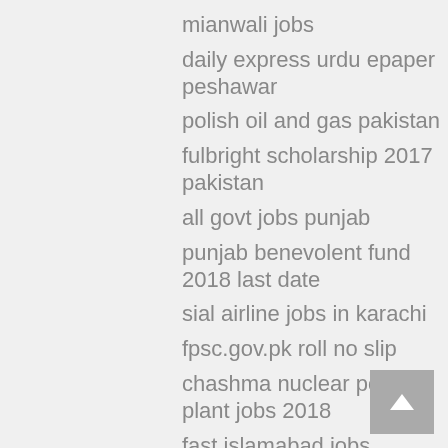mianwali jobs
daily express urdu epaper peshawar
polish oil and gas pakistan
fulbright scholarship 2017 pakistan
all govt jobs punjab
punjab benevolent fund 2018 last date
sial airline jobs in karachi
fpsc.gov.pk roll no slip
chashma nuclear power plant jobs 2018
fast islamabad jobs
nayatel peshawar
pmln internship 2016
oil depots in pakistan